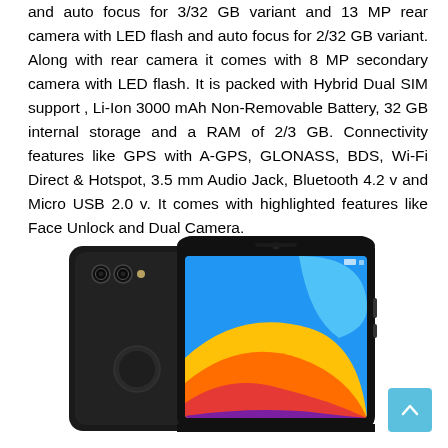and auto focus for 3/32 GB variant and 13 MP rear camera with LED flash and auto focus for 2/32 GB variant. Along with rear camera it comes with 8 MP secondary camera with LED flash. It is packed with Hybrid Dual SIM support , Li-Ion 3000 mAh Non-Removable Battery, 32 GB internal storage and a RAM of 2/3 GB. Connectivity features like GPS with A-GPS, GLONASS, BDS, Wi-Fi Direct & Hotspot, 3.5 mm Audio Jack, Bluetooth 4.2 v and Micro USB 2.0 v. It comes with highlighted features like Face Unlock and Dual Camera.
[Figure (photo): A smartphone shown from two angles — the back (dark grey/black, with dual cameras and fingerprint sensor) and the front (showing a colorful wallpaper with blue, yellow, orange, and purple wavy shapes on the display screen).]